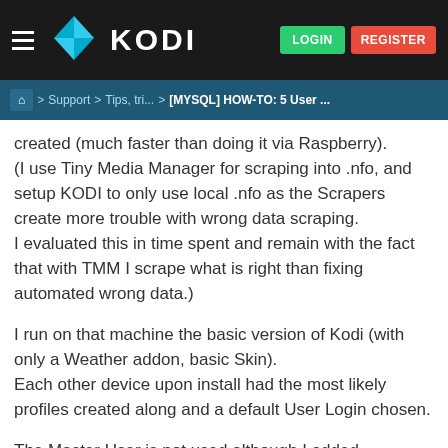KODI — LOGIN  REGISTER
🏠 > Support > Tips, tri... > [MYSQL] HOW-TO: 5 User ...
created (much faster than doing it via Raspberry).
(I use Tiny Media Manager for scraping into .nfo, and setup KODI to only use local .nfo as the Scrapers create more trouble with wrong data scraping.
I evaluated this in time spent and remain with the fact that with TMM I scrape what is right than fixing automated wrong data.)
I run on that machine the basic version of Kodi (with only a Weather addon, basic Skin).
Each other device upon install had the most likely profiles created along and a default User Login chosen.
The Master User is not used although I added the DB for it as fallback.